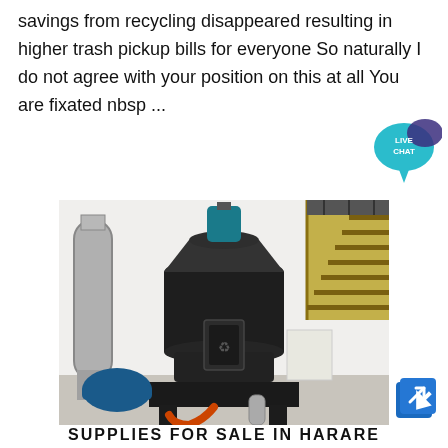savings from recycling disappeared resulting in higher trash pickup bills for everyone So naturally I do not agree with your position on this at all You are fixated nbsp ...
[Figure (photo): Industrial milling or grinding machine inside a factory building with metal ductwork, yellow railing staircase, and heavy equipment on a concrete floor.]
SUPPLIES FOR SALE IN HARARE